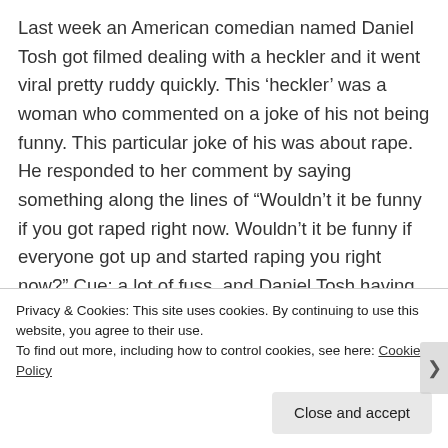Last week an American comedian named Daniel Tosh got filmed dealing with a heckler and it went viral pretty ruddy quickly. This ‘heckler’ was a woman who commented on a joke of his not being funny. This particular joke of his was about rape. He responded to her comment by saying something along the lines of “Wouldn’t it be funny if you got raped right now. Wouldn’t it be funny if everyone got up and started raping you right now?” Cue: a lot of fuss. and Daniel Tosh having to make a
Privacy & Cookies: This site uses cookies. By continuing to use this website, you agree to their use.
To find out more, including how to control cookies, see here: Cookie Policy